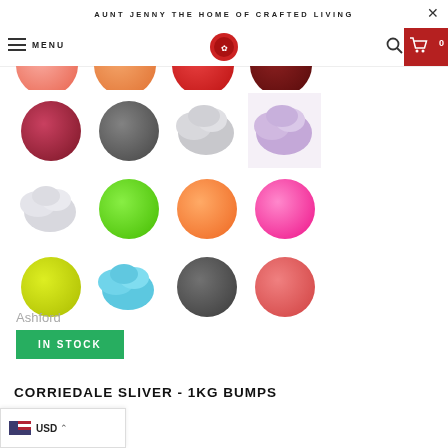AUNT JENNY THE HOME OF CRAFTED LIVING
[Figure (screenshot): Website navigation bar with hamburger menu, MENU text, red wax seal logo, search icon, and red cart button showing 0 items]
[Figure (photo): Grid of wool/fiber balls in various colors: top partial row (orange-pink, orange, red, dark red), second row (dark red/maroon, dark grey, light grey, lavender/purple), third row (light grey, lime green, orange, hot pink), fourth row (yellow-green, light blue/teal, dark grey, salmon/coral pink)]
Ashford
IN STOCK
CORRIEDALE SLIVER - 1KG BUMPS
USD